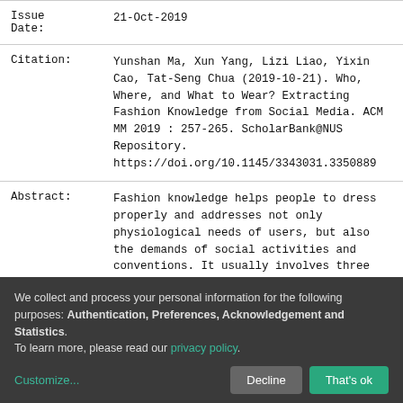| Field | Value |
| --- | --- |
| Issue Date: | 21-Oct-2019 |
| Citation: | Yunshan Ma, Xun Yang, Lizi Liao, Yixin Cao, Tat-Seng Chua (2019-10-21). Who, Where, and What to Wear? Extracting Fashion Knowledge from Social Media. ACM MM 2019 : 257-265. ScholarBank@NUS Repository. https://doi.org/10.1145/3343031.3350889 |
| Abstract: | Fashion knowledge helps people to dress properly and addresses not only physiological needs of users, but also the demands of social activities and conventions. It usually involves three mutually related aspects of: occasion, person and clothing. |
We collect and process your personal information for the following purposes: Authentication, Preferences, Acknowledgement and Statistics. To learn more, please read our privacy policy.